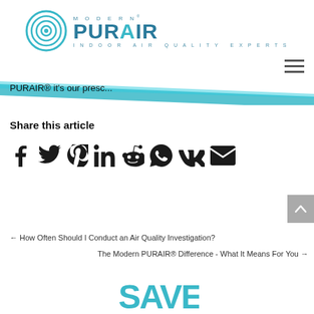[Figure (logo): Modern PURAIR logo with circular concentric rings icon and text 'MODERN PURAIR INDOOR AIR QUALITY EXPERTS' in teal/blue]
[Figure (other): Hamburger menu icon (three horizontal lines) in top right]
[Figure (other): Diagonal teal/cyan decorative bar across the page]
PURAIR® it's our presc...
Share this article
[Figure (infographic): Social media share icons: Facebook, Twitter, Pinterest, LinkedIn, Reddit, WhatsApp, VK, Email]
[Figure (other): Back to top button with upward arrow, grey background]
← How Often Should I Conduct an Air Quality Investigation?
The Modern PURAIR® Difference - What It Means For You →
[Figure (logo): Partial SAVE logo in teal at bottom of page]